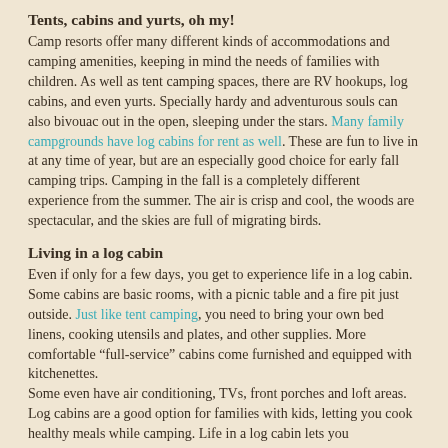Tents, cabins and yurts, oh my!
Camp resorts offer many different kinds of accommodations and camping amenities, keeping in mind the needs of families with children. As well as tent camping spaces, there are RV hookups, log cabins, and even yurts. Specially hardy and adventurous souls can also bivouac out in the open, sleeping under the stars. Many family campgrounds have log cabins for rent as well. These are fun to live in at any time of year, but are an especially good choice for early fall camping trips. Camping in the fall is a completely different experience from the summer. The air is crisp and cool, the woods are spectacular, and the skies are full of migrating birds.
Living in a log cabin
Even if only for a few days, you get to experience life in a log cabin. Some cabins are basic rooms, with a picnic table and a fire pit just outside. Just like tent camping, you need to bring your own bed linens, cooking utensils and plates, and other supplies. More comfortable “full-service” cabins come furnished and equipped with kitchenettes. Some even have air conditioning, TVs, front porches and loft areas. Log cabins are a good option for families with kids, letting you cook healthy meals while camping. Life in a log cabin lets you